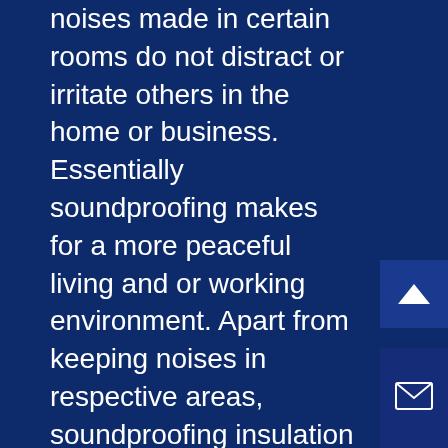noises made in certain rooms do not distract or irritate others in the home or business. Essentially soundproofing makes for a more peaceful living and or working environment. Apart from keeping noises in respective areas, soundproofing insulation can have all the advantages of regular property insulation. This means that soundproofing insulation can help to warm rooms and to decrease energy requirements for heating your home or business. Contact 4 Weather Insulation & Roofing for more information on how soundproofing helps your home or business.